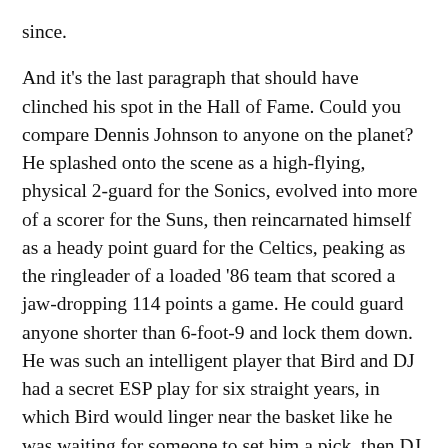since.
And it’s the last paragraph that should have clinched his spot in the Hall of Fame. Could you compare Dennis Johnson to anyone on the planet? He splashed onto the scene as a high-flying, physical 2-guard for the Sonics, evolved into more of a scorer for the Suns, then reincarnated himself as a heady point guard for the Celtics, peaking as the ringleader of a loaded ’86 team that scored a jaw-dropping 114 points a game. He could guard anyone shorter than 6-foot-9 and lock them down. He was such an intelligent player that Bird and DJ had a secret ESP play for six straight years, in which Bird would linger near the basket like he was waiting for someone to set him a pick, then DJ would whip a pass by the defender’s ears and Bird would catch it at the last possible second for a layup (and the only way that play happened was if they locked eyes). He was one of those classic only-when-it-counts shooters